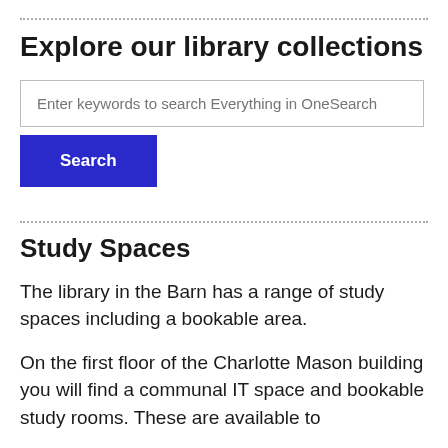Explore our library collections
[Figure (screenshot): Search input box with placeholder text 'Enter keywords to search Everything in OneSearch' and a blue Search button below]
Study Spaces
The library in the Barn has a range of study spaces including a bookable area.
On the first floor of the Charlotte Mason building you will find a communal IT space and bookable study rooms. These are available to